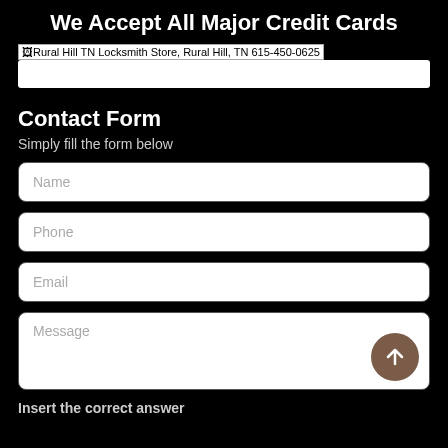We Accept All Major Credit Cards
[Figure (screenshot): Broken image placeholder with alt text: Rural Hill TN Locksmith Store, Rural Hill, TN 615-450-0625]
Contact Form
Simply fill the form below
Name
Phone
Email
Message
Insert the correct answer